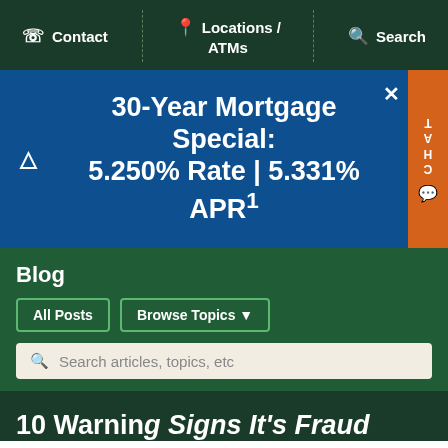Contact | Locations / ATMs | Search
30-Year Mortgage Special: 5.250% Rate | 5.331% APR¹
Blog
All Posts
Browse Topics
Search articles, topics, etc
10 Warning Signs It's Fraud